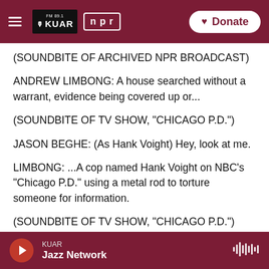FM 89.1 KUAR | npr | Donate
(SOUNDBITE OF ARCHIVED NPR BROADCAST)
ANDREW LIMBONG: A house searched without a warrant, evidence being covered up or...
(SOUNDBITE OF TV SHOW, "CHICAGO P.D.")
JASON BEGHE: (As Hank Voight) Hey, look at me.
LIMBONG: ...A cop named Hank Voight on NBC's "Chicago P.D." using a metal rod to torture someone for information.
(SOUNDBITE OF TV SHOW, "CHICAGO P.D.")
KUAR · Jazz Network